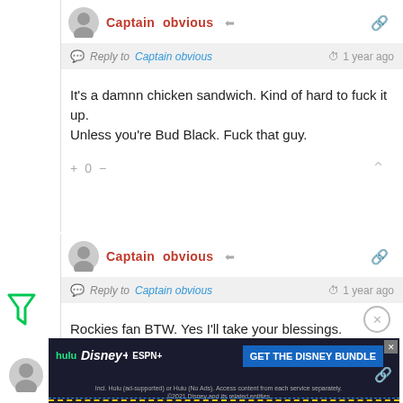Captain obvious
Reply to Captain obvious  1 year ago
It's a damnn chicken sandwich. Kind of hard to fuck it up. Unless you're Bud Black. Fuck that guy.
+ 0 -
Captain obvious
Reply to Captain obvious  1 year ago
Rockies fan BTW. Yes I'll take your blessings.
+ 0 -
[Figure (screenshot): GET THE DISNEY BUNDLE ad banner with Hulu, Disney+, ESPN+ logos]